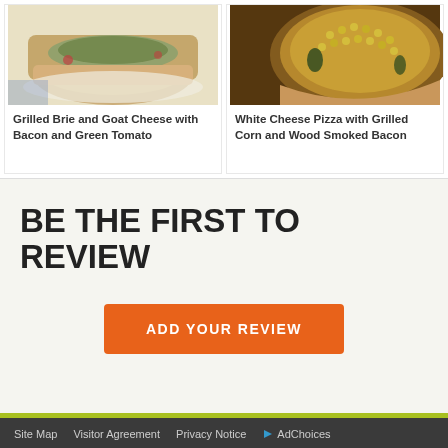[Figure (photo): Photo of a grilled brie and goat cheese sandwich with bacon and green tomato on a white plate]
Grilled Brie and Goat Cheese with Bacon and Green Tomato
[Figure (photo): Photo of a white cheese pizza topped with grilled corn and wood smoked bacon]
White Cheese Pizza with Grilled Corn and Wood Smoked Bacon
BE THE FIRST TO REVIEW
ADD YOUR REVIEW
Site Map   Visitor Agreement   Privacy Notice   AdChoices